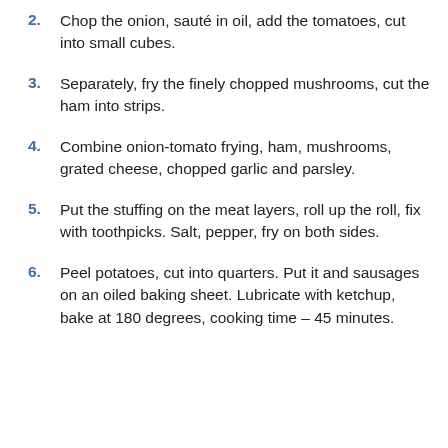2. Chop the onion, sauté in oil, add the tomatoes, cut into small cubes.
3. Separately, fry the finely chopped mushrooms, cut the ham into strips.
4. Combine onion-tomato frying, ham, mushrooms, grated cheese, chopped garlic and parsley.
5. Put the stuffing on the meat layers, roll up the roll, fix with toothpicks. Salt, pepper, fry on both sides.
6. Peel potatoes, cut into quarters. Put it and sausages on an oiled baking sheet. Lubricate with ketchup, bake at 180 degrees, cooking time – 45 minutes.